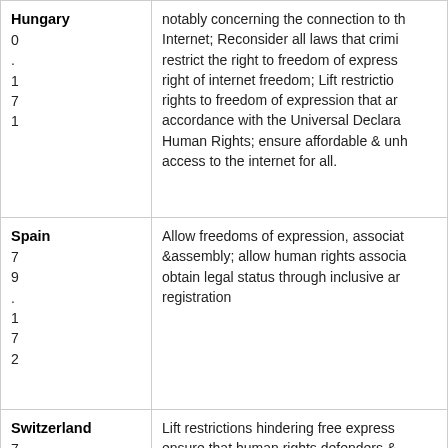| Country / Reference | Recommendation |
| --- | --- |
| Hungary
0
.
1
7
1 | notably concerning the connection to the Internet; Reconsider all laws that criminalize restrict the right to freedom of expression, right of internet freedom; Lift restrictions rights to freedom of expression that are in accordance with the Universal Declaration Human Rights; ensure affordable & unhindered access to the internet for all. |
| Spain
7
9
.
1
7
2 | Allow freedoms of expression, association &assembly; allow human rights associations obtain legal status through inclusive and registration |
| Switzerland
7
0 | Lift restrictions hindering free expression ensure that human rights defenders & independent journalists are not victims |